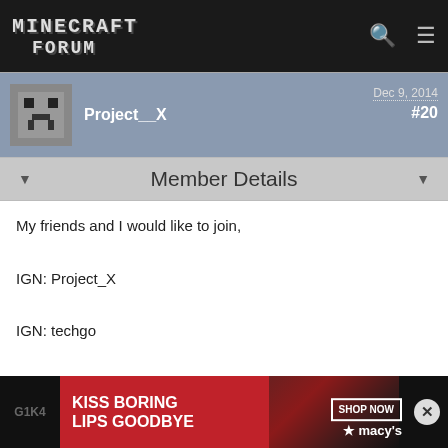MINECRAFT FORUM
Project__X — Dec 9, 2014 — #20
Member Details
My friends and I would like to join,

IGN: Project_X

IGN: techgo

IGN: m_mailloux
thpwns — Dec 9, 2014 — #21
Member Details
Welcome all below!
[Figure (photo): Advertisement banner: KISS BORING LIPS GOODBYE — SHOP NOW — macy's]